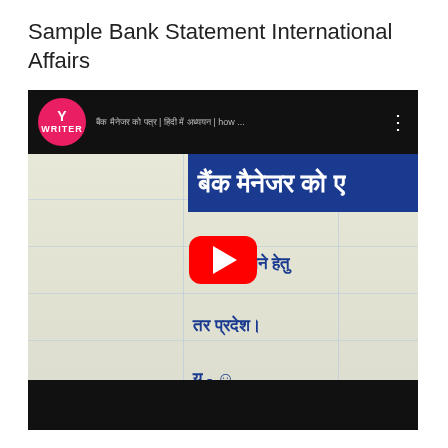Sample Bank Statement International Affairs
[Figure (screenshot): YouTube video thumbnail showing a handwritten Hindi letter to a bank manager with text 'बैंक मैनेजर को ए' on a blue banner, Y Writer channel logo, and a red YouTube play button overlay on a notebook page with Hindi handwriting about opening a bank account at State Bank of India]